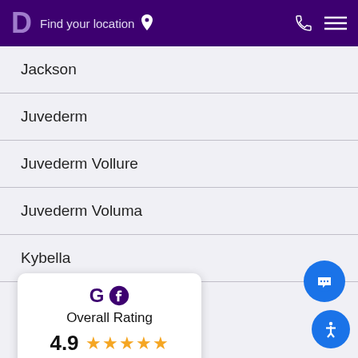D Find your location
Jackson
Juvederm
Juvederm Vollure
Juvederm Voluma
Kybella
Laser Hair Removal
[Figure (infographic): Overall Rating card showing Google and Facebook logos, rating 4.9 with 5 gold stars, and link to read 353 reviews]
Laser Skin Resurfacing